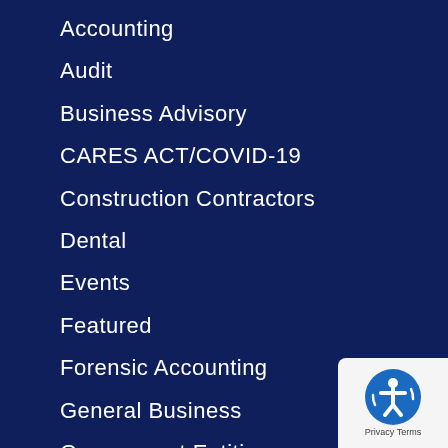Accounting
Audit
Business Advisory
CARES ACT/COVID-19
Construction Contractors
Dental
Events
Featured
Forensic Accounting
General Business
Government Entities